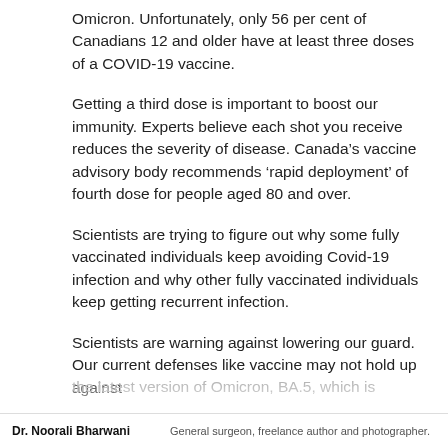Omicron. Unfortunately, only 56 per cent of Canadians 12 and older have at least three doses of a COVID-19 vaccine.
Getting a third dose is important to boost our immunity. Experts believe each shot you receive reduces the severity of disease. Canada's vaccine advisory body recommends ‘rapid deployment’ of fourth dose for people aged 80 and over.
Scientists are trying to figure out why some fully vaccinated individuals keep avoiding Covid-19 infection and why other fully vaccinated individuals keep getting recurrent infection.
Scientists are warning against lowering our guard. Our current defenses like vaccine may not hold up against the latest version of Omicron, BA.5, which is
Dr. Noorali Bharwani    General surgeon, freelance author and photographer.